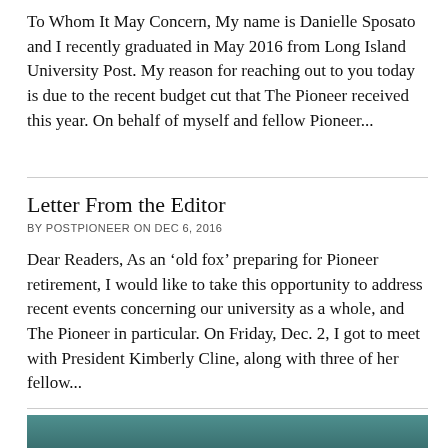To Whom It May Concern, My name is Danielle Sposato and I recently graduated in May 2016 from Long Island University Post. My reason for reaching out to you today is due to the recent budget cut that The Pioneer received this year. On behalf of myself and fellow Pioneer...
Letter From the Editor
BY POSTPIONEER ON DEC 6, 2016
Dear Readers, As an ‘old fox’ preparing for Pioneer retirement, I would like to take this opportunity to address recent events concerning our university as a whole, and The Pioneer in particular. On Friday, Dec. 2, I got to meet with President Kimberly Cline, along with three of her fellow...
[Figure (photo): Partial photo showing a person against a teal/dark background, cropped at bottom of page]